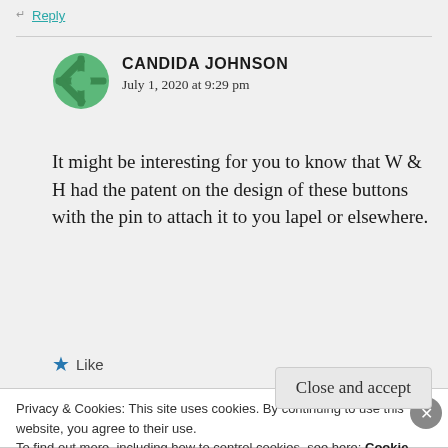↵ Reply
CANDIDA JOHNSON
July 1, 2020 at 9:29 pm
It might be interesting for you to know that W & H had the patent on the design of these buttons with the pin to attach it to you lapel or elsewhere.
Like
Privacy & Cookies: This site uses cookies. By continuing to use this website, you agree to their use.
To find out more, including how to control cookies, see here: Cookie Policy
Close and accept